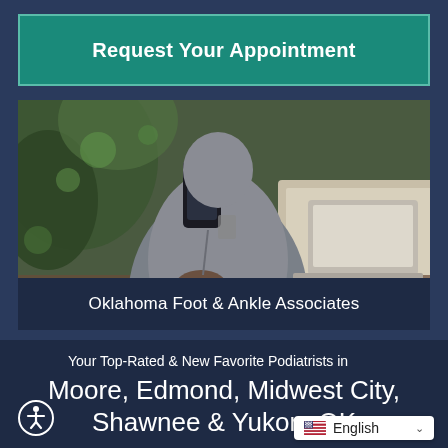Request Your Appointment
[Figure (photo): Person holding a smartphone with a laptop open on a table, indoor setting with greenery in background]
Oklahoma Foot & Ankle Associates
Your Top-Rated & New Favorite Podiatrists in Moore, Edmond, Midwest City, Shawnee & Yukon, OK